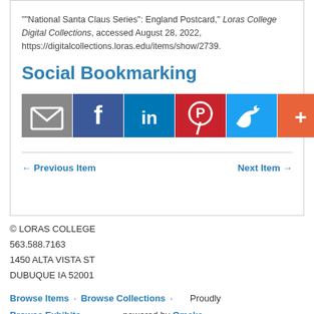""National Santa Claus Series": England Postcard," Loras College Digital Collections, accessed August 28, 2022, https://digitalcollections.loras.edu/items/show/2739.
Social Bookmarking
[Figure (infographic): Row of social media share buttons: Email (grey), Facebook (blue), LinkedIn (teal), Pinterest (red), Twitter (light blue), More/AddThis (orange)]
← Previous Item     Next Item →
© LORAS COLLEGE
563.588.7163
1450 ALTA VISTA ST
DUBUQUE IA 52001
Browse Items · Browse Collections · Proudly Browse Exhibits · powered by Omeka. Catholic life in the Archdiocese · Library Homepage · CDH Homepage · About